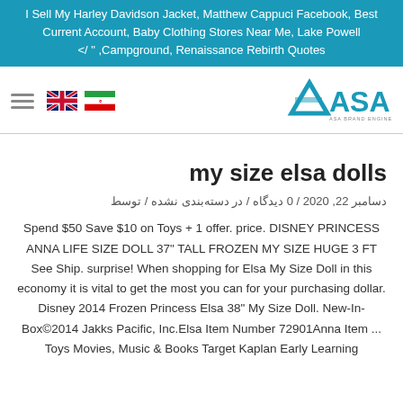I Sell My Harley Davidson Jacket, Matthew Cappuci Facebook, Best Current Account, Baby Clothing Stores Near Me, Lake Powell </ " ,Campground, Renaissance Rebirth Quotes
[Figure (logo): ASA logo with hamburger menu, UK flag, and Iran flag in navigation bar]
my size elsa dolls
دسامبر 22, 2020 / 0 دیدگاه / در دسته‌بندی نشده / توسط
Spend $50 Save $10 on Toys + 1 offer. price. DISNEY PRINCESS ANNA LIFE SIZE DOLL 37" TALL FROZEN MY SIZE HUGE 3 FT See Ship. surprise! When shopping for Elsa My Size Doll in this economy it is vital to get the most you can for your purchasing dollar. Disney 2014 Frozen Princess Elsa 38" My Size Doll. New-In-Box©2014 Jakks Pacific, Inc.Elsa Item Number 72901Anna Item ... Toys Movies, Music & Books Target Kaplan Early Learning